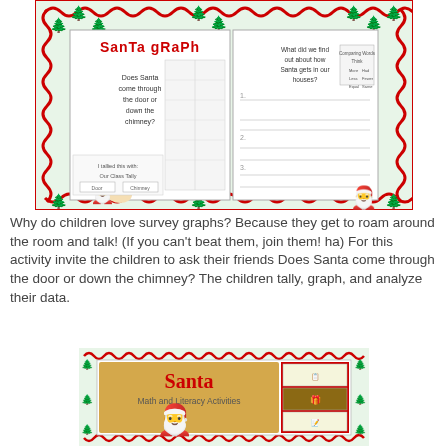[Figure (illustration): A worksheet titled 'Santa Graph' showing a classroom activity about whether Santa comes through the door or down the chimney. The image has a decorative red scalloped border with green Christmas trees, and shows two worksheet pages with a graph, tally sections, and writing lines, along with Santa clip art.]
Why do children love survey graphs? Because they get to roam around the room and talk! (If you can't beat them, join them! ha) For this activity invite the children to ask their friends Does Santa come through the door or down the chimney? The children tally, graph, and analyze their data.
[Figure (illustration): A book cover titled 'Santa Math and Literacy Activities' featuring a golden background with a Santa Claus figurine, and thumbnail images of various activity pages on the right side, inside a decorative red and green Christmas border.]